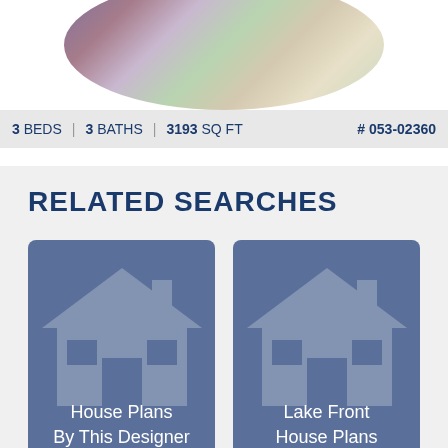[Figure (photo): Oval-cropped photo of a garden path with purple and white flowering plants]
3 BEDS | 3 BATHS | 3193 SQ FT   # 053-02360
RELATED SEARCHES
[Figure (infographic): Blue card with house icon: House Plans By This Designer]
[Figure (infographic): Blue card with house icon: Lake Front House Plans]